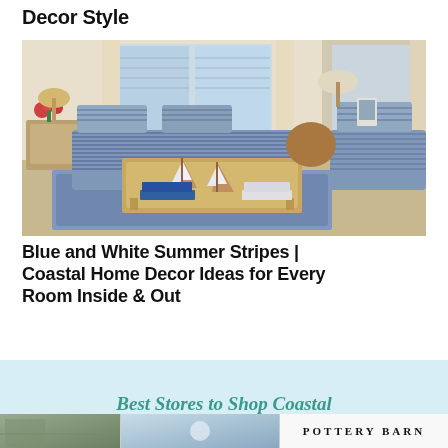Decor Style
[Figure (photo): Coastal living room with blue and white striped sofas and armchair, wooden coffee table with sailboat decorations and blue books, area rug, lamps, and ocean view windows]
Blue and White Summer Stripes | Coastal Home Decor Ideas for Every Room Inside & Out
Best Stores to Shop Coastal
[Figure (photo): Bottom strip showing three images/logos: a coastal/nature store, a coastal decor store, and Pottery Barn logo]